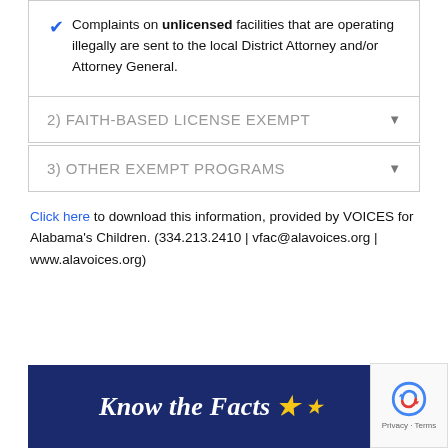Complaints on unlicensed facilities that are operating illegally are sent to the local District Attorney and/or Attorney General.
2) FAITH-BASED LICENSE EXEMPT
3) OTHER EXEMPT PROGRAMS
Click here to download this information, provided by VOICES for Alabama's Children. (334.213.2410 | vfac@alavoices.org | www.alavoices.org)
[Figure (illustration): Dark navy blue banner with white italic bold text reading 'Know the Facts' followed by yellow star icons]